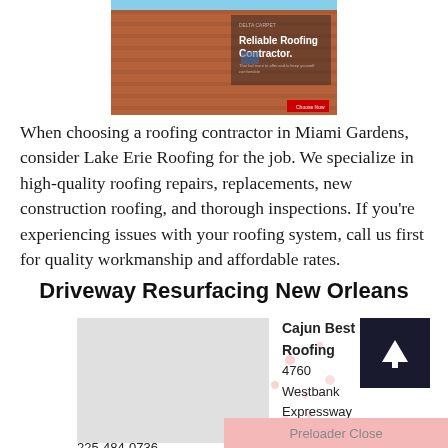[Figure (screenshot): Screenshot of a roofing contractor website showing a roof image with text 'Reliable Roofing Contractor.' overlaid in white]
When choosing a roofing contractor in Miami Gardens, consider Lake Erie Roofing for the job. We specialize in high-quality roofing repairs, replacements, new construction roofing, and thorough inspections. If you're experiencing issues with your roofing system, call us first for quality workmanship and affordable rates.
Driveway Resurfacing New Orleans
[Figure (map): Gray placeholder map area]
Cajun Best Roofing
4760 Westbank Expressway B
Marrero LA 70072-3060
225-484-0736
Preloader Close